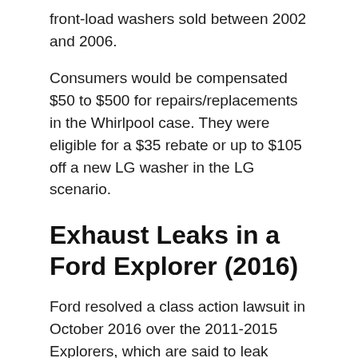front-load washers sold between 2002 and 2006.
Consumers would be compensated $50 to $500 for repairs/replacements in the Whirlpool case. They were eligible for a $35 rebate or up to $105 off a new LG washer in the LG scenario.
Exhaust Leaks in a Ford Explorer (2016)
Ford resolved a class action lawsuit in October 2016 over the 2011-2015 Explorers, which are said to leak exhaust fumes into the interior.
Ford would repair warrantied cars for free